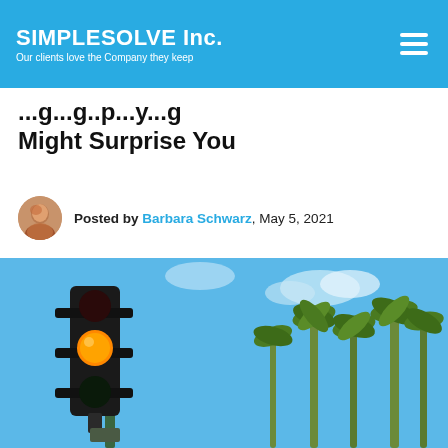SIMPLESOLVE Inc. — Our clients love the Company they keep
... Might Surprise You
Posted by Barbara Schwarz, May 5, 2021
[Figure (photo): A traffic light showing an orange/amber light, photographed from below against a blue sky with tall palm trees in the background.]